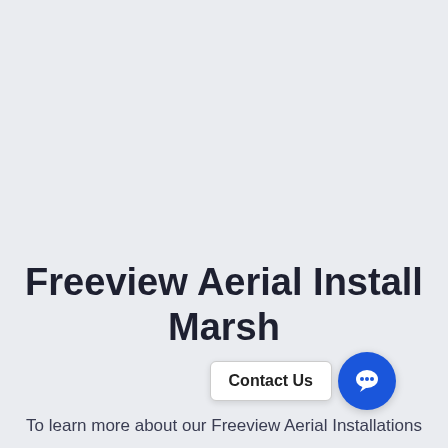Freeview Aerial Install Marsh
To learn more about our Freeview Aerial Installations